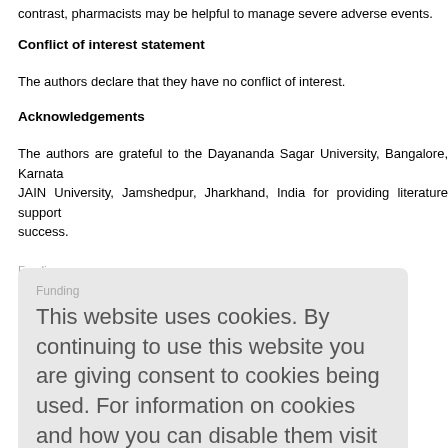contrast, pharmacists may be helpful to manage severe adverse events.
Conflict of interest statement
The authors declare that they have no conflict of interest.
Acknowledgements
The authors are grateful to the Dayananda Sagar University, Bangalore, Karnataka JAIN University, Jamshedpur, Jharkhand, India for providing literature support success.
Funding
The study received no extramural funding.
Shrivastava, S. was responsible for literature collection and writing the draft of the manuscript... Tiwari P controlled the whole review.
This website uses cookies. By continuing to use this website you are giving consent to cookies being used. For information on cookies and how you can disable them visit our Privacy and Cookie Policy. AGREE & PROCEED